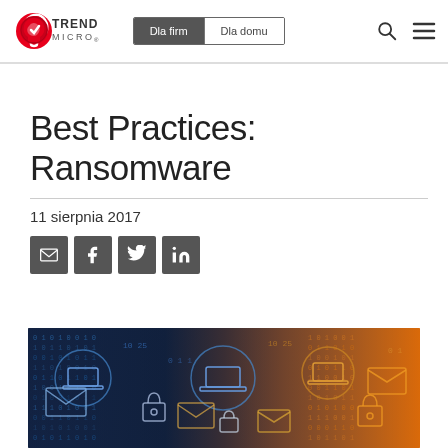[Figure (logo): Trend Micro logo — red circular arrow icon with TREND MICRO text]
Dla firm | Dla domu
Best Practices: Ransomware
11 sierpnia 2017
[Figure (infographic): Social sharing buttons: email, Facebook, Twitter, LinkedIn]
[Figure (photo): Cybersecurity themed hero image showing laptops, email icons, padlocks and binary numbers on dark/orange background]